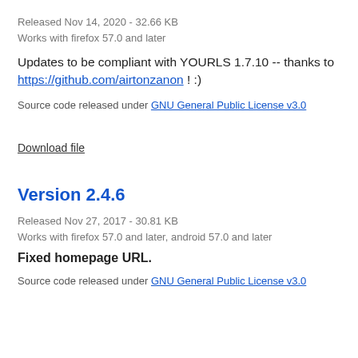Released Nov 14, 2020 - 32.66 KB
Works with firefox 57.0 and later
Updates to be compliant with YOURLS 1.7.10 -- thanks to https://github.com/airtonzanon ! :)
Source code released under GNU General Public License v3.0
Download file
Version 2.4.6
Released Nov 27, 2017 - 30.81 KB
Works with firefox 57.0 and later, android 57.0 and later
Fixed homepage URL.
Source code released under GNU General Public License v3.0